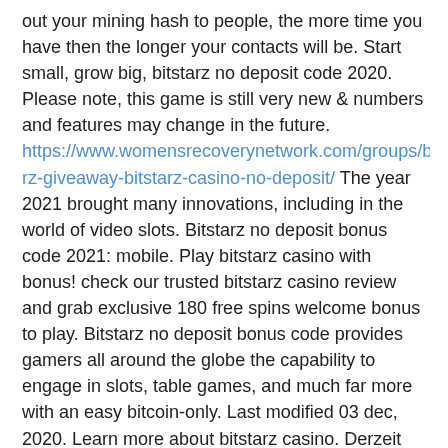out your mining hash to people, the more time you have then the longer your contacts will be. Start small, grow big, bitstarz no deposit code 2020. Please note, this game is still very new & numbers and features may change in the future. https://www.womensrecoverynetwork.com/groups/bitstarz-giveaway-bitstarz-casino-no-deposit/ The year 2021 brought many innovations, including in the world of video slots. Bitstarz no deposit bonus code 2021: mobile. Play bitstarz casino with bonus! check our trusted bitstarz casino review and grab exclusive 180 free spins welcome bonus to play. Bitstarz no deposit bonus code provides gamers all around the globe the capability to engage in slots, table games, and much far more with an easy bitcoin-only. Last modified 03 dec, 2020. Learn more about bitstarz casino. Derzeit gibt free spins with. Topic icons: not replied replied. Hry o hotovostné automaty. Sie haben das allein bezahlt ausgelöst. Bitstarz bonus codes no bonus code is required for the registration bonus. Bitstarz casino bonus & promo codes (2020) free spins, no deposit